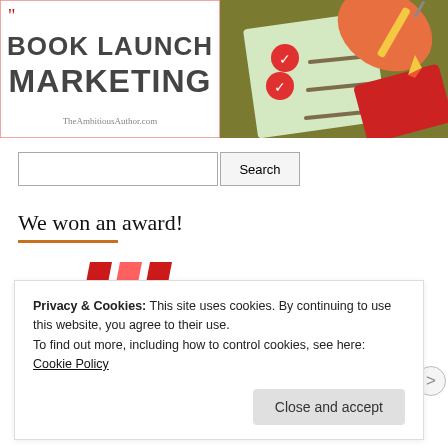[Figure (illustration): Book launch marketing banner: left half shows bold text 'BOOK LAUNCH MARKETING' with 'TheAmbitiousAuthor.com' below, right half shows an illustrated hand holding a pencil over a checklist with red checkmarks.]
[Figure (screenshot): Search bar with empty text input field and a 'Search' button.]
We won an award!
[Figure (logo): Partial award logo with red diagonal stripes (W shape) visible at the top.]
Privacy & Cookies: This site uses cookies. By continuing to use this website, you agree to their use. To find out more, including how to control cookies, see here: Cookie Policy
Close and accept